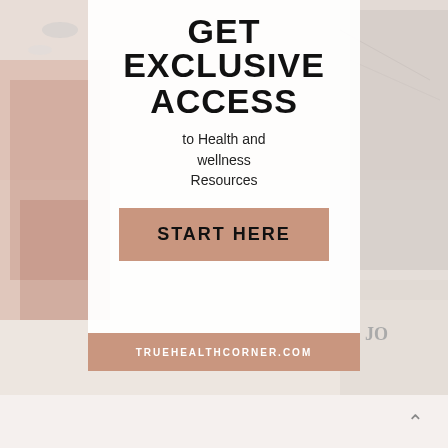[Figure (photo): Flatlay photo of a desk with notebooks, pens, and marble surfaces in neutral/rose gold tones, serving as background for a health and wellness promotional card overlay]
GET EXCLUSIVE ACCESS
to Health and wellness Resources
START HERE
TRUEHEALTHCORNER.COM